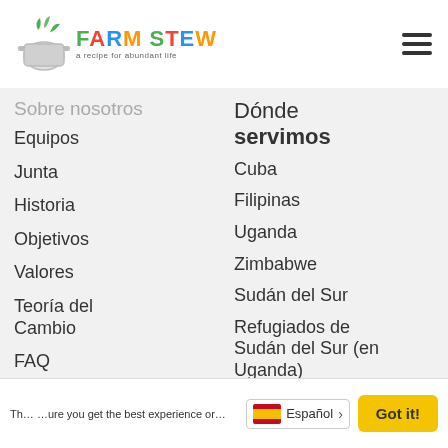Farm Stew — a recipe for abundant life
Sobre nosotros
Equipos
Junta
Historia
Objetivos
Valores
Teoría del Cambio
FAQ
Dónde servimos
Cuba
Filipinas
Uganda
Zimbabwe
Sudán del Sur
Refugiados de Sudán del Sur (en Uganda)
EE.UU.
Th… …ure you get the best experience or… Español › Got it!